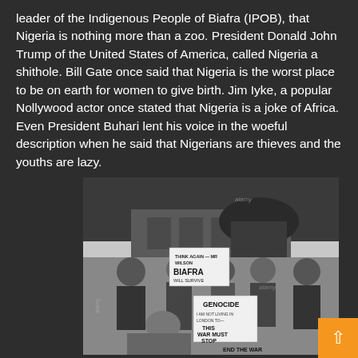leader of the Indigenous People of Biafra (IPOB), that Nigeria is nothing more than a zoo. President Donald John Trump of the United States of America, called Nigeria a shithole. Bill Gate once said that Nigeria is the worst place to be on earth for women to give birth. Jim Iyke, a popular Nollywood actor once stated that Nigeria is a joke of Africa. Even President Buhari lent his voice in the woeful description when he said that Nigerians are thieves and the youths are lazy.
[Figure (photo): Black and white photograph of protesters holding signs including 'BIAFRA WILL SURVIVE' and 'GENOCIDE THIS WAR MUST STOP END THE WAR', standing in front of a building. An alamy watermark is visible.]